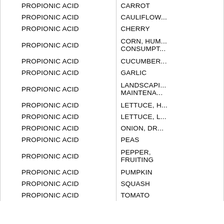| Chemical | Commodity |
| --- | --- |
| PROPIONIC ACID | CARROT |
| PROPIONIC ACID | CAULIFLOW... |
| PROPIONIC ACID | CHERRY |
| PROPIONIC ACID | CORN, HUM... CONSUMPT... |
| PROPIONIC ACID | CUCUMBER... |
| PROPIONIC ACID | GARLIC |
| PROPIONIC ACID | LANDSCAPI... MAINTENA... |
| PROPIONIC ACID | LETTUCE, H... |
| PROPIONIC ACID | LETTUCE, L... |
| PROPIONIC ACID | ONION, DR... |
| PROPIONIC ACID | PEAS |
| PROPIONIC ACID | PEPPER, FRUITING |
| PROPIONIC ACID | PUMPKIN |
| PROPIONIC ACID | SQUASH |
| PROPIONIC ACID | TOMATO |